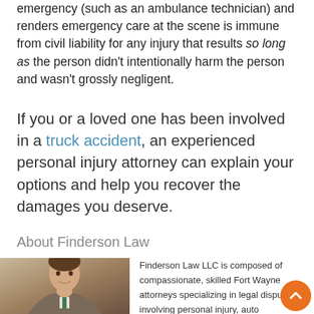emergency (such as an ambulance technician) and renders emergency care at the scene is immune from civil liability for any injury that results so long as the person didn't intentionally harm the person and wasn't grossly negligent.
If you or a loved one has been involved in a truck accident, an experienced personal injury attorney can explain your options and help you recover the damages you deserve.
About Finderson Law
[Figure (photo): Professional headshot of a man in a suit with a tie, smiling, against a neutral background]
Finderson Law LLC is composed of compassionate, skilled Fort Wayne attorneys specializing in legal disputes involving personal injury, auto